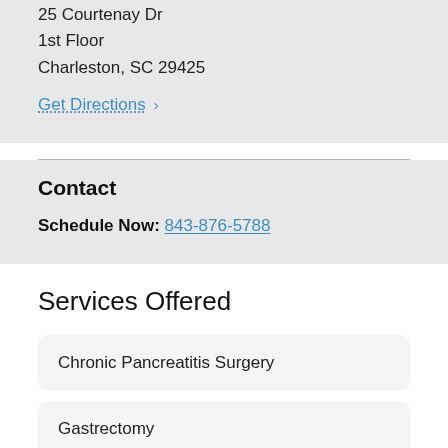25 Courtenay Dr
1st Floor
Charleston, SC 29425
Get Directions ›
Contact
Schedule Now: 843-876-5788
Services Offered
Chronic Pancreatitis Surgery
Gastrectomy
Laparaoscopic Surgery